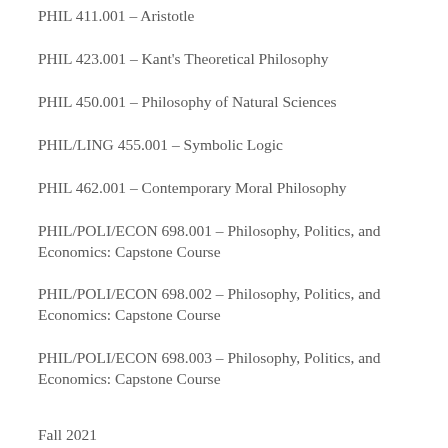PHIL 411.001 – Aristotle
PHIL 423.001 – Kant's Theoretical Philosophy
PHIL 450.001 – Philosophy of Natural Sciences
PHIL/LING 455.001 – Symbolic Logic
PHIL 462.001 – Contemporary Moral Philosophy
PHIL/POLI/ECON 698.001 – Philosophy, Politics, and Economics: Capstone Course
PHIL/POLI/ECON 698.002 – Philosophy, Politics, and Economics: Capstone Course
PHIL/POLI/ECON 698.003 – Philosophy, Politics, and Economics: Capstone Course
Fall 2021
PHIL ...